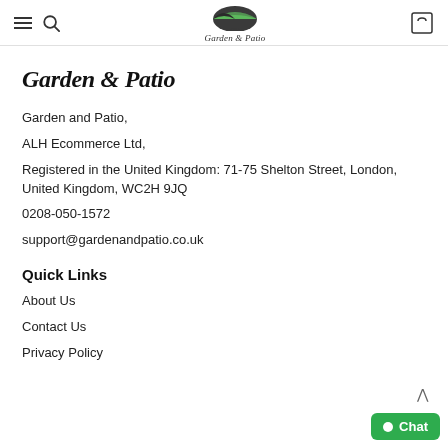Garden & Patio — navigation header with hamburger menu, search icon, logo, and cart icon
Garden & Patio
Garden and Patio,
ALH Ecommerce Ltd,
Registered in the United Kingdom: 71-75 Shelton Street, London, United Kingdom, WC2H 9JQ
0208-050-1572
support@gardenandpatio.co.uk
Quick Links
About Us
Contact Us
Privacy Policy